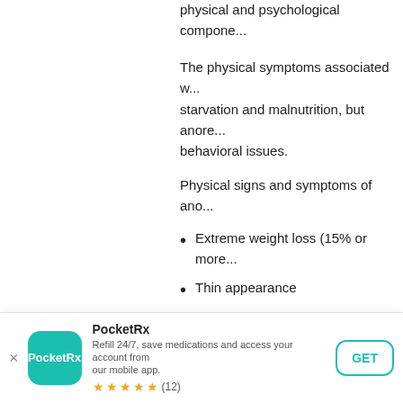physical and psychological components
The physical symptoms associated with starvation and malnutrition, but anorexia also involves behavioral issues.
Physical signs and symptoms of anorexia:
Extreme weight loss (15% or more)
Thin appearance
Abnormal blood counts
Fatigue
Insomnia
Dizziness or fainting
Bluish discoloration of the fingers
[Figure (screenshot): PocketRx app download banner with teal icon, app name PocketRx, description 'Refill 24/7, save medications and access your account from our mobile app.', 5-star rating with (12) reviews, and a GET button.]